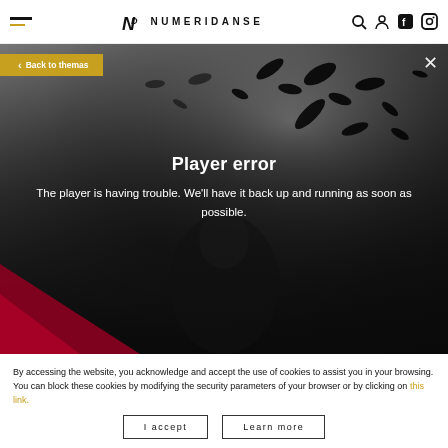NUMERIDANSE
[Figure (screenshot): Video player showing a black and white abstract background with a dancer figure. Overlaid player error message on dark background with red accent in bottom left corner.]
← Back to themas
Player error
The player is having trouble. We'll have it back up and running as soon as possible.
By accessing the website, you acknowledge and accept the use of cookies to assist you in your browsing.
You can block these cookies by modifying the security parameters of your browser or by clicking on this link.
I accept
Learn more